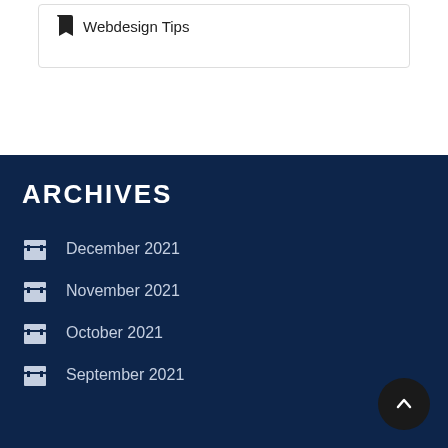Webdesign Tips
ARCHIVES
December 2021
November 2021
October 2021
September 2021
August 2021